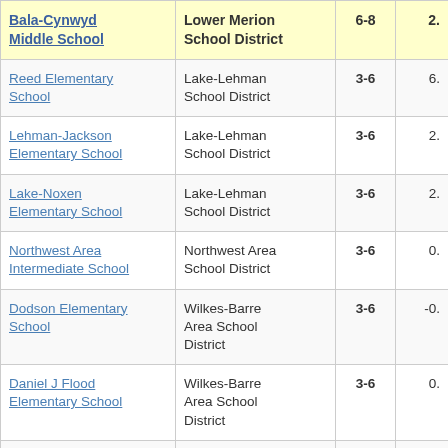| School | District | Grades | Value |
| --- | --- | --- | --- |
| Bala-Cynwyd Middle School | Lower Merion School District | 6-8 | 2. |
| (Reed Elementary School) | Lake-Lehman School District | 3-6 | 6. |
| Lehman-Jackson Elementary School | Lake-Lehman School District | 3-6 | 2. |
| Lake-Noxen Elementary School | Lake-Lehman School District | 3-6 | 2. |
| Northwest Area Intermediate School | Northwest Area School District | 3-6 | 0. |
| Dodson Elementary School | Wilkes-Barre Area School District | 3-6 | -0. |
| Daniel J Flood Elementary School | Wilkes-Barre Area School District | 3-6 | 0. |
| Heights/Murray Elementary School | Wilkes-Barre Area School District | 3-6 | 0. |